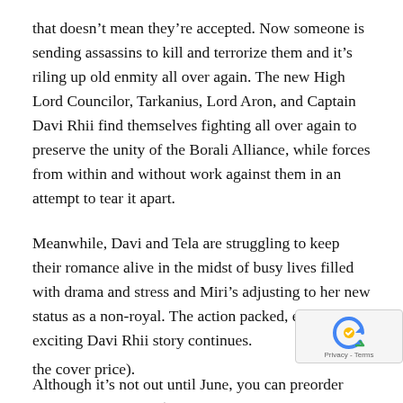that doesn't mean they're accepted. Now someone is sending assassins to kill and terrorize them and it's riling up old enmity all over again. The new High Lord Councilor, Tarkanius, Lord Aron, and Captain Davi Rhii find themselves fighting all over again to preserve the unity of the Borali Alliance, while forces from within and without work against them in an attempt to tear it apart.
Meanwhile, Davi and Tela are struggling to keep their romance alive in the midst of busy lives filled with drama and stress and Miri's adjusting to her new status as a non-royal. The action packed, emotional, exciting Davi Rhii story continues.
Although it's not out until June, you can preorder Returning today for $10.11 at Barnes & Noble (31% the cover price).